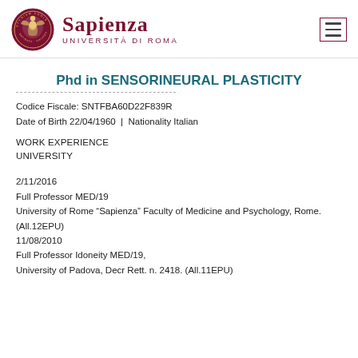[Figure (logo): Sapienza Università di Roma logo with circular seal and navigation hamburger icon]
Phd in SENSORINEURAL PLASTICITY
Codice Fiscale: SNTFBA60D22F839R
Date of Birth 22/04/1960 | Nationality Italian
WORK EXPERIENCE
UNIVERSITY
2/11/2016
Full Professor MED/19
University of Rome “Sapienza” Faculty of Medicine and Psychology, Rome. (All.12EPU)
11/08/2010
Full Professor Idoneity MED/19,
University of Padova, Decr Rett. n. 2418. (All.11EPU)